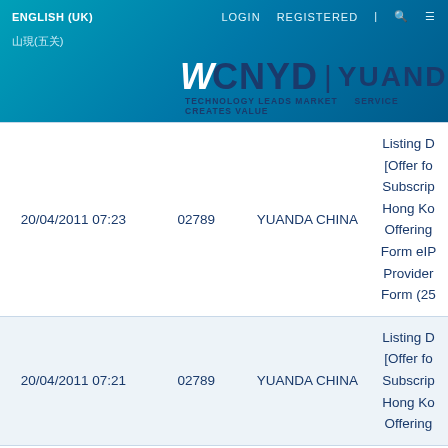ENGLISH (UK)   LOGIN   REGISTERED
[Figure (logo): CNYD Yuanda logo with tagline: TECHNOLOGY LEADS MARKET SERVICE CREATES VALUE]
| Date/Time | Code | Company | Description |
| --- | --- | --- | --- |
| 20/04/2011 07:23 | 02789 | YUANDA CHINA | Listing D
[Offer fo
Subscrip
Hong Ko
Offering
Form eIP
Provider
Form (25 |
| 20/04/2011 07:21 | 02789 | YUANDA CHINA | Listing D
[Offer fo
Subscrip
Hong Ko
Offering |